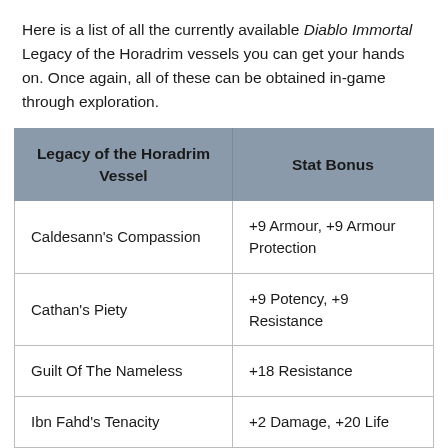Here is a list of all the currently available Diablo Immortal Legacy of the Horadrim vessels you can get your hands on. Once again, all of these can be obtained in-game through exploration.
| Legacy of the Horadrim Vessel | Stat Bonus |
| --- | --- |
| Caldesann's Compassion | +9 Armour, +9 Armour Protection |
| Cathan's Piety | +9 Potency, +9 Resistance |
| Guilt Of The Nameless | +18 Resistance |
| Ibn Fahd's Tenacity | +2 Damage, +20 Life |
| Jered Cain's Vision | +18 Armour |